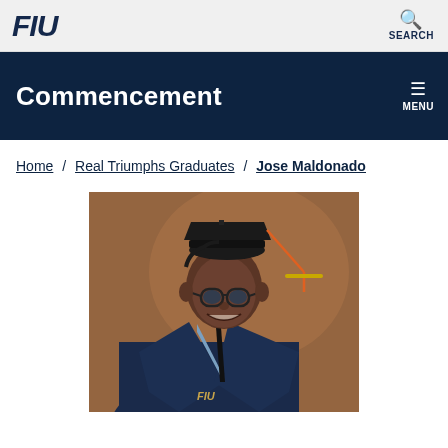FIU | SEARCH
Commencement
Home / Real Triumphs Graduates / Jose Maldonado
[Figure (photo): Jose Maldonado in FIU graduation cap and gown, wearing glasses and smiling, with graduation tassel visible]